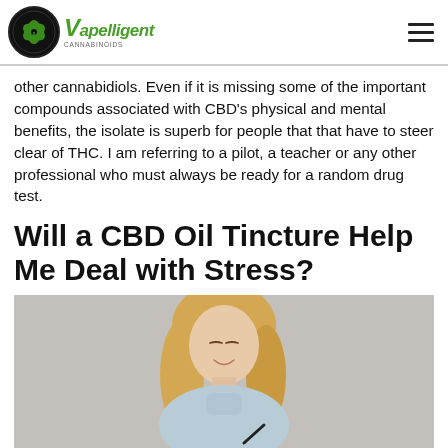Vapelligent [logo]
other cannabidiols. Even if it is missing some of the important compounds associated with CBD’s physical and mental benefits, the isolate is superb for people that that have to steer clear of THC. I am referring to a pilot, a teacher or any other professional who must always be ready for a random drug test.
Will a CBD Oil Tincture Help Me Deal with Stress?
[Figure (photo): A smiling young woman with long blonde hair wearing a light blue turtleneck sweater, looking slightly downward, with a light grey brick wall background.]